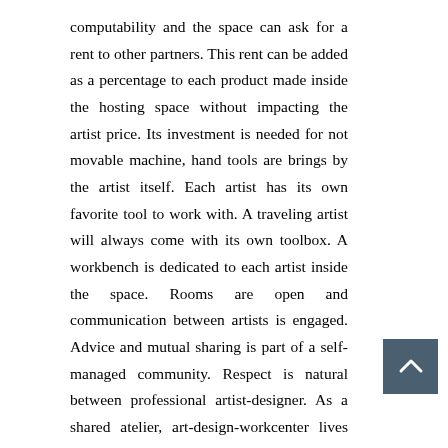computability and the space can ask for a rent to other partners. This rent can be added as a percentage to each product made inside the hosting space without impacting the artist price. Its investment is needed for not movable machine, hand tools are brings by the artist itself. Each artist has its own favorite tool to work with. A traveling artist will always come with its own toolbox. A workbench is dedicated to each artist inside the space. Rooms are open and communication between artists is engaged. Advice and mutual sharing is part of a self-managed community. Respect is natural between professional artist-designer. As a shared atelier, art-design-workcenter lives thanks people working inside. Artists stay for a trimester period and are replaced by another once the work is finished. Then a roll is organized through the